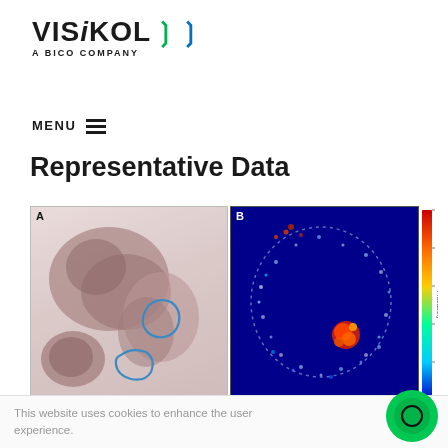[Figure (logo): Visikol logo with chevron arrows and 'A BICO COMPANY' subtitle]
MENU ≡
Representative Data
[Figure (illustration): Figure 1 Panel A: H&E histology slide showing tissue cross-sections with blue outline annotation. Panel B: Supervised machine learning heatmap on dark blue background showing probability distribution in red/yellow/cyan colors with vertical colorbar labeled 'Probability'.]
Figure 1. Results of supervised machine learning
This website uses cookies to enhance the user experience.